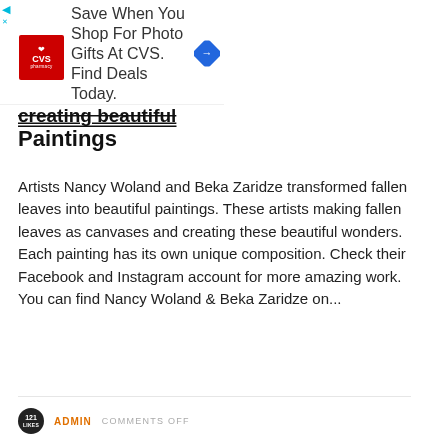[Figure (screenshot): CVS Pharmacy advertisement banner with red CVS logo on left, text 'Save When You Shop For Photo Gifts At CVS. Find Deals Today.' and blue navigation arrow icon on right]
Paintings
Artists Nancy Woland and Beka Zaridze transformed fallen leaves into beautiful paintings. These artists making fallen leaves as canvases and creating these beautiful wonders. Each painting has its own unique composition. Check their Facebook and Instagram account for more amazing work. You can find Nancy Woland & Beka Zaridze on...
121 ADMIN COMMENTS OFF